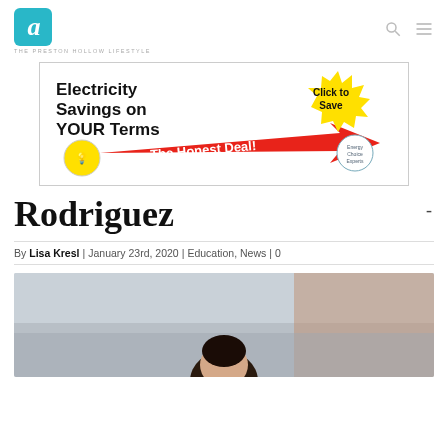a — THE PRESTON HOLLOW LIFESTYLE
[Figure (infographic): Advertisement banner: 'Electricity Savings on YOUR Terms — The Honest Deal! Click to Save — Energy Choice Experts' with lightbulb graphic, red arrow, and yellow starburst badge.]
Rodriguez -
By Lisa Kresl | January 23rd, 2020 | Education, News | 0
[Figure (photo): Photo of a person outdoors, partially visible from the neck up, in front of a blurred building background.]